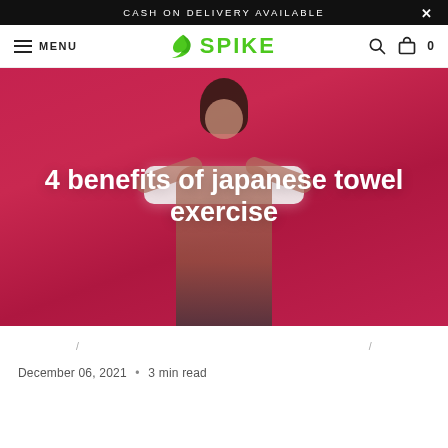CASH ON DELIVERY AVAILABLE
MENU | SPIKE | 🔍 | 🛍 0
[Figure (photo): Woman in grey sports bra holding a white towel above her head against a pink/red background, with overlay text: 4 benefits of japanese towel exercise]
4 benefits of japanese towel exercise
/ /
December 06, 2021 • 3 min read